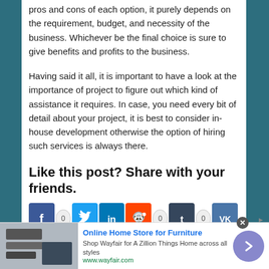pros and cons of each option, it purely depends on the requirement, budget, and necessity of the business. Whichever be the final choice is sure to give benefits and profits to the business.
Having said it all, it is important to have a look at the importance of project to figure out which kind of assistance it requires. In case, you need every bit of detail about your project, it is best to consider in-house development otherwise the option of hiring such services is always there.
Like this post? Share with your friends.
[Figure (infographic): Social share buttons: Facebook (0 shares), Twitter, LinkedIn, Reddit (0 shares), Tumblr (0 shares), VK]
[Figure (infographic): Advertisement banner: Online Home Store for Furniture - Shop Wayfair for A Zillion Things Home across all styles - www.wayfair.com]